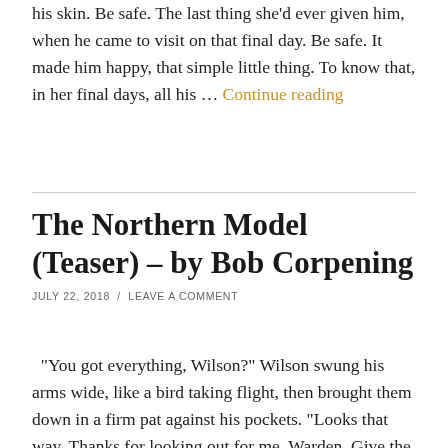his skin. Be safe. The last thing she'd ever given him, when he came to visit on that final day. Be safe. It made him happy, that simple little thing. To know that, in her final days, all his … Continue reading
The Northern Model (Teaser) – by Bob Corpening
JULY 22, 2018  /  LEAVE A COMMENT
“You got everything, Wilson?” Wilson swung his arms wide, like a bird taking flight, then brought them down in a firm pat against his pockets. “Looks that way. Thanks for looking out for me, Warden. Give the boys my regards.” “Oh!” the warden exclaimed. “Before I